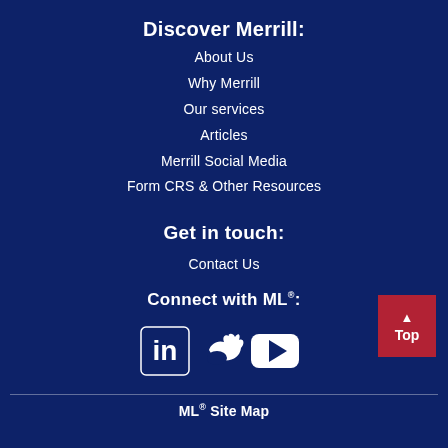Discover Merrill:
About Us
Why Merrill
Our services
Articles
Merrill Social Media
Form CRS & Other Resources
Get in touch:
Contact Us
Connect with ML®:
[Figure (illustration): Social media icons: LinkedIn, Twitter, YouTube]
ML® Site Map